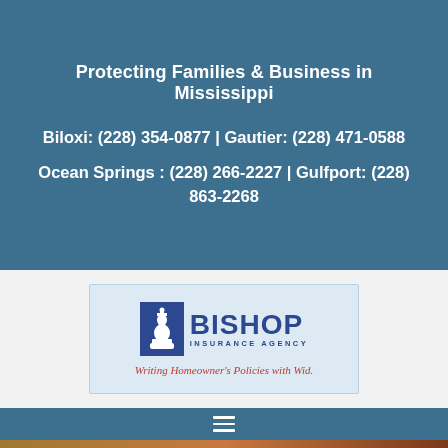Protecting Families & Business in Mississippi
Biloxi: (228) 354-0877 | Gautier: (228) 471-0588
Ocean Springs : (228) 266-2227 | Gulfport: (228) 863-2268
[Figure (logo): Bishop Insurance Agency logo with chess bishop piece icon, blue text reading BISHOP INSURANCE AGENCY, and red script tagline: Writing Homeowner's Policies with Wid.]
[Figure (other): Hamburger menu icon with three horizontal white lines on blue background]